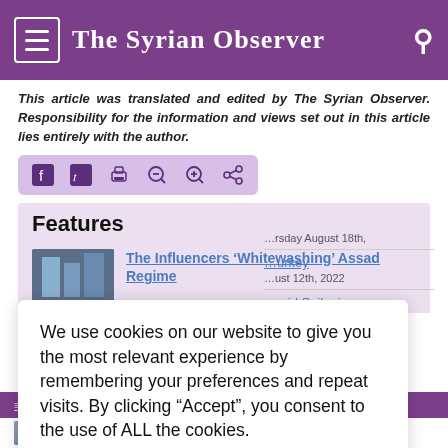The Syrian Observer
This article was translated and edited by The Syrian Observer. Responsibility for the information and views set out in this article lies entirely with the author.
Features
The Influencers ‘Whitewashing’ Assad Regime
Thursday August 18th,
urkey
ust 12th, 2022
mid Spike in
), Thursday August
We use cookies on our website to give you the most relevant experience by remembering your preferences and repeat visits. By clicking “Accept”, you consent to the use of ALL the cookies.
Do not sell my personal information.
Syrian Brotherhood Faces Internal Problems As